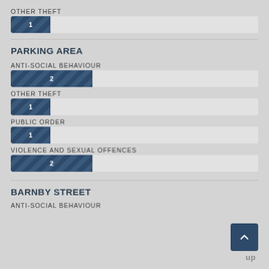OTHER THEFT
[Figure (bar-chart): OTHER THEFT]
PARKING AREA
ANTI-SOCIAL BEHAVIOUR
[Figure (bar-chart): ANTI-SOCIAL BEHAVIOUR]
OTHER THEFT
[Figure (bar-chart): OTHER THEFT]
PUBLIC ORDER
[Figure (bar-chart): PUBLIC ORDER]
VIOLENCE AND SEXUAL OFFENCES
[Figure (bar-chart): VIOLENCE AND SEXUAL OFFENCES]
BARNBY STREET
ANTI-SOCIAL BEHAVIOUR